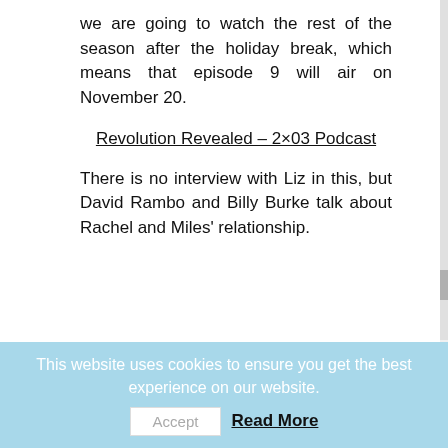we are going to watch the rest of the season after the holiday break, which means that episode 9 will air on November 20.
Revolution Revealed – 2×03 Podcast
There is no interview with Liz in this, but David Rambo and Billy Burke talk about Rachel and Miles' relationship.
[Figure (photo): Broken image placeholder with alt text: Revolution Elizabeth Mitchell as Rachel Matheson]
This website uses cookies to ensure you get the best experience on our website.